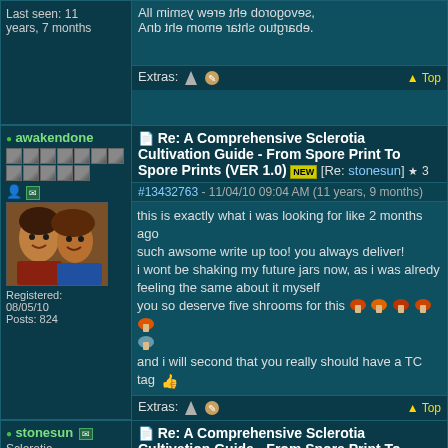Last seen: 11 years, 7 months
All mimsy were the borogoves, And the mome rath outgrabe. (mirrored text)
Extras: [icons] Top
Re: A Comprehensive Sclerotia Cultivation Guide - From Spore Print To Spore Prints (VER 1.0) [NEW] [Re: stonesun] ☆ 3
#13432763 - 11/04/10 09:04 AM (11 years, 9 months)
awakendone
[Figure (photo): Avatar photo of two people]
Registered: 08/05/10
Posts: 824
this is exactly what i was looking for like 2 months ago
such awsome write up too! you always deliver!
i wont be shaking my future jars now, as i was alredy feeling the same about it myself
you so deserve five shrooms for this 🍄🍄🍄🍄🍄
and i will second that you really should have a TC tag 👍
Extras: [icons] Top
Re: A Comprehensive Sclerotia Cultivation Guide - From Spore Print To Spore Prints (VER 1.0) [NEW] [Re: awakendone]
stonesun
Sclerotia Aficionado